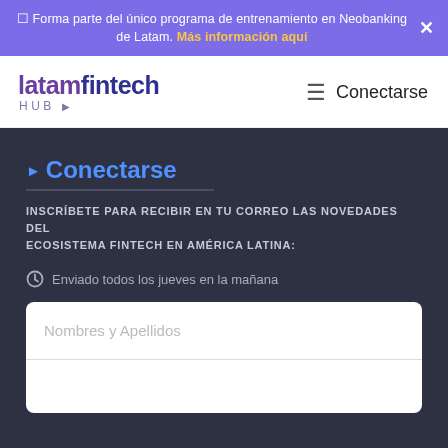☐ Forma parte del único programa de entrenamiento en Neobanking de Latam. Más información aquí ✕
[Figure (logo): latamfintech HUB logo with purple and dark blue text]
≡ Conectarse
▶ Conectarse
INSCRÍBETE PARA RECIBIR EN TU CORREO LAS NOVEDADES DEL ECOSISTEMA FINTECH EN AMÉRICA LATINA:
🕐 Enviado todos los jueves en la mañana
Nombres y Apellidos